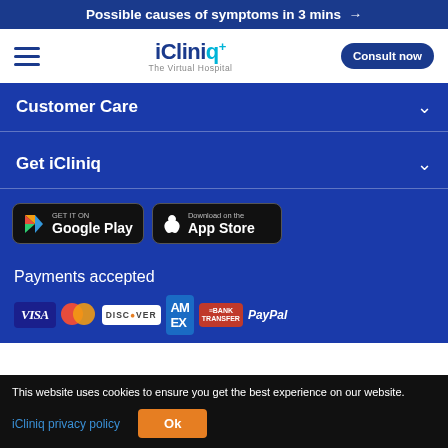Possible causes of symptoms in 3 mins →
[Figure (logo): iCliniq+ The Virtual Hospital logo with hamburger menu and Consult now button]
Customer Care
Get iCliniq
[Figure (infographic): GET IT ON Google Play and Download on the App Store buttons]
Payments accepted
[Figure (infographic): Payment icons: VISA, Mastercard, DISCOVER, AMEX, BANK TRANSFER, PayPal]
This website uses cookies to ensure you get the best experience on our website.
iCliniq privacy policy
Ok